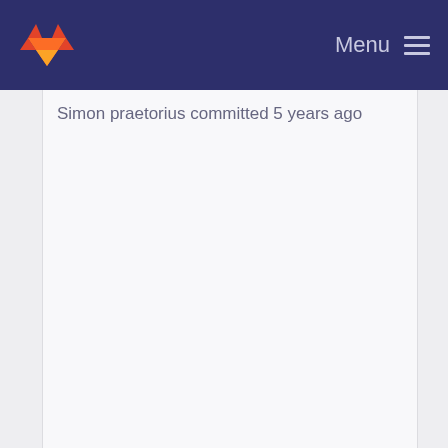[Figure (logo): GitLab fox logo in orange and red on dark navy navigation bar]
Menu
Simon praetorius committed 5 years ago